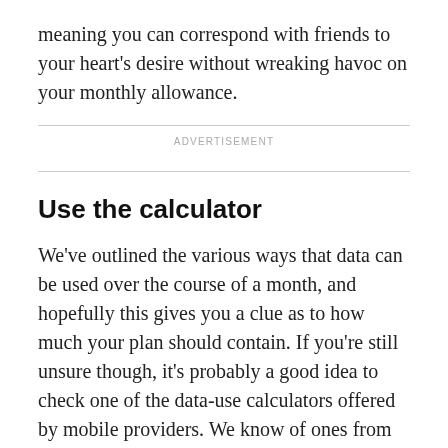meaning you can correspond with friends to your heart’s desire without wreaking havoc on your monthly allowance.
ADVERTISEMENT
Use the calculator
We’ve outlined the various ways that data can be used over the course of a month, and hopefully this gives you a clue as to how much your plan should contain. If you’re still unsure though, it’s probably a good idea to check one of the data-use calculators offered by mobile providers. We know of ones from Vodaphone, Three, and Giff-Gaff, which means you can try them all, work out the average, and go from